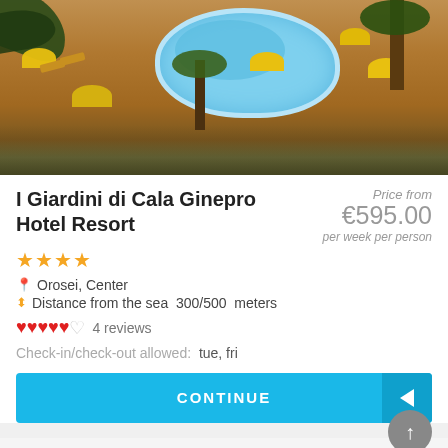[Figure (photo): Aerial/overhead view of a hotel resort pool area with yellow beach umbrellas, sun loungers, palm trees, and terracotta paved surroundings]
I Giardini di Cala Ginepro Hotel Resort
Price from €595.00 per week per person
★★★★
Orosei, Center
Distance from the sea 300/500 meters
♥♥♥♥♥♡ 4 reviews
Check-in/check-out allowed: tue, fri
CONTINUE
Self catering
If you searched for Self catering near Cala Ginepro, we suggest the